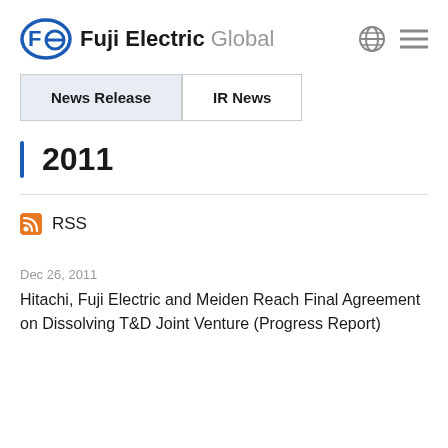Fuji Electric Global
News Release
IR News
2011
RSS
Dec 26, 2011
Hitachi, Fuji Electric and Meiden Reach Final Agreement on Dissolving T&D Joint Venture (Progress Report)